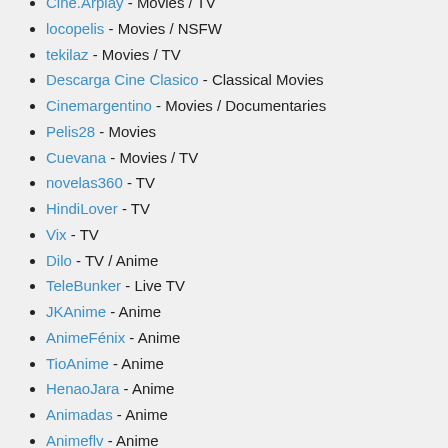Cine.Arplay - Movies / TV
locopelis - Movies / NSFW
tekilaz - Movies / TV
Descarga Cine Clasico - Classical Movies
Cinemargentino - Movies / Documentaries
Pelis28 - Movies
Cuevana - Movies / TV
novelas360 - TV
HindiLover - TV
Vix - TV
Dilo - TV / Anime
TeleBunker - Live TV
JKAnime - Anime
AnimeFénix - Anime
TioAnime - Anime
HenaoJara - Anime
Animadas - Anime
Animeflv - Anime
AnimeID - Anime
animeyt - Anime
Anitube - Anime
animeblix - Anime